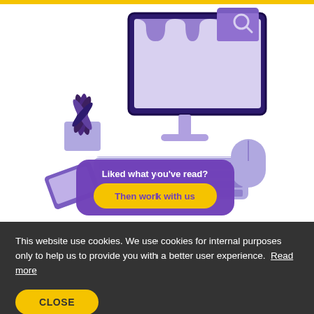[Figure (illustration): Isometric illustration of a desktop computer setup with keyboard, mouse, a potted plant, and a folder icon, all in purple/lavender tones. Overlaid is a purple rounded rectangle card with white bold text 'Liked what you've read?' and a yellow pill button 'Then work with us'.]
This website use cookies. We use cookies for internal purposes only to help us to provide you with a better user experience. Read more
CLOSE